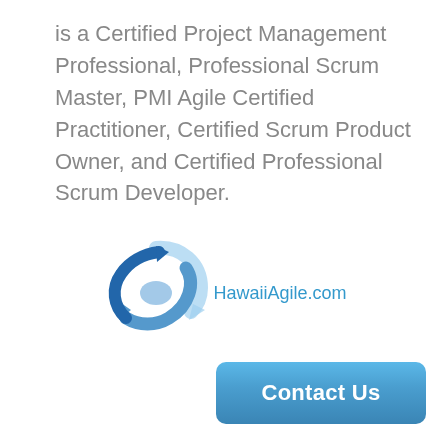is a Certified Project Management Professional, Professional Scrum Master, PMI Agile Certified Practitioner, Certified Scrum Product Owner, and Certified Professional Scrum Developer.
[Figure (logo): HawaiiAgile.com logo: blue swirling arrow graphic with 'HawaiiAgile.com' text in blue]
Contact Us